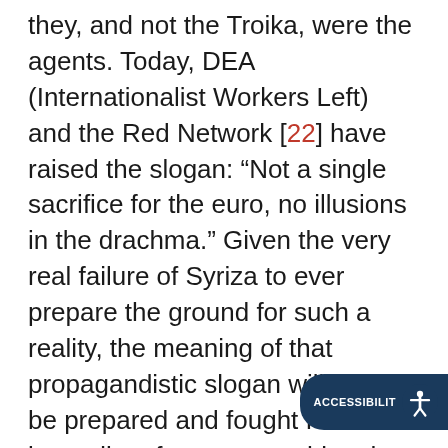they, and not the Troika, were the agents. Today, DEA (Internationalist Workers Left) and the Red Network [22] have raised the slogan: “Not a single sacrifice for the euro, no illusions in the drachma.” Given the very real failure of Syriza to ever prepare the ground for such a reality, the meaning of that propagandistic slogan will have to be prepared and fought for in the immediate future, something that Syriza once promised, but failed to undertake in practice.
The Syriza left’s participation in and commitment to that organization were